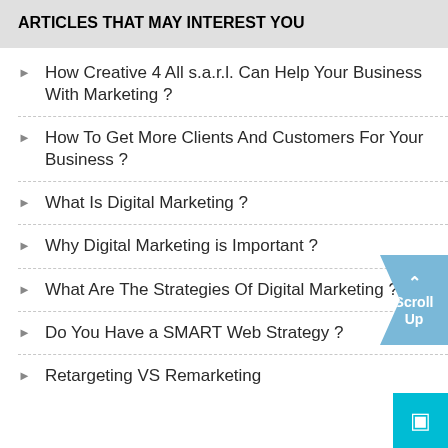ARTICLES THAT MAY INTEREST YOU
How Creative 4 All s.a.r.l. Can Help Your Business With Marketing ?
How To Get More Clients And Customers For Your Business ?
What Is Digital Marketing ?
Why Digital Marketing is Important ?
What Are The Strategies Of Digital Marketing ?
Do You Have a SMART Web Strategy ?
Retargeting VS Remarketing